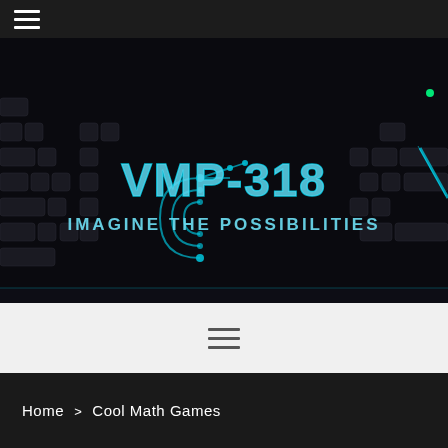≡ (hamburger navigation menu)
[Figure (photo): Dark gaming keyboard with glowing blue/teal backlighting. Center shows a logo with circuit-board design reading 'VMP-318' and tagline 'IMAGINE THE POSSIBILITIES' in teal/metallic sci-fi font.]
[Figure (other): Horizontal menu bar icon (three horizontal lines / hamburger icon) on light gray background]
Home > Cool Math Games